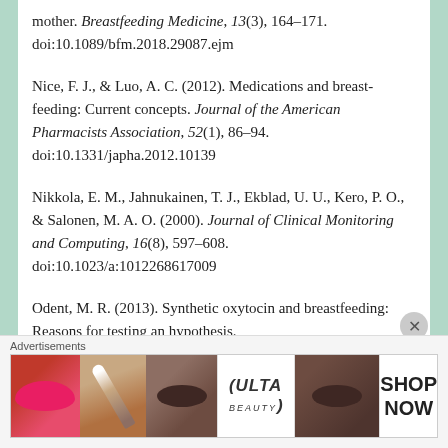mother. Breastfeeding Medicine, 13(3), 164–171. doi:10.1089/bfm.2018.29087.ejm
Nice, F. J., & Luo, A. C. (2012). Medications and breast-feeding: Current concepts. Journal of the American Pharmacists Association, 52(1), 86–94. doi:10.1331/japha.2012.10139
Nikkola, E. M., Jahnukainen, T. J., Ekblad, U. U., Kero, P. O., & Salonen, M. A. O. (2000). Journal of Clinical Monitoring and Computing, 16(8), 597–608. doi:10.1023/a:1012268617009
Odent, M. R. (2013). Synthetic oxytocin and breastfeeding: Reasons for testing an hypothesis.
[Figure (other): Advertisements banner with Ulta Beauty cosmetics ad showing makeup images (lips, brush, eye) with 'SHOP NOW' call to action]